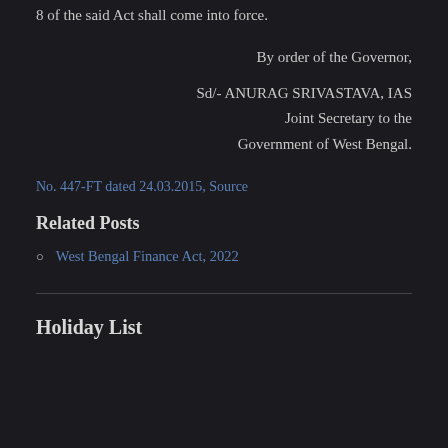8 of the said Act shall come into force.
By order of the Governor,
Sd/- ANURAG SRIVASTAVA, IAS
Joint Secretary to the
Government of West Bengal.
No. 447-FT dated 24.03.2015, Source
Related Posts
West Bengal Finance Act, 2022
Holiday List